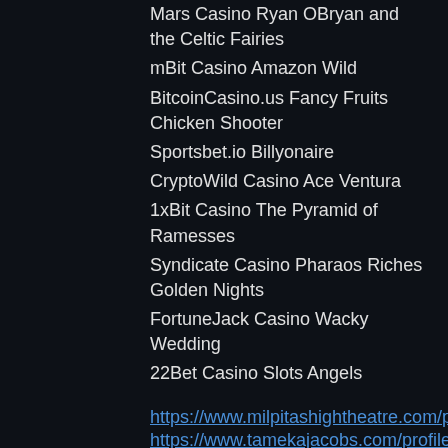Mars Casino Ryan OBryan and the Celtic Fairies
mBit Casino Amazon Wild
BitcoinCasino.us Fancy Fruits Chicken Shooter
Sportsbet.io Billyonaire
CryptoWild Casino Ace Ventura
1xBit Casino The Pyramid of Ramesses
Syndicate Casino Pharaos Riches Golden Nights
FortuneJack Casino Wacky Wedding
22Bet Casino Slots Angels
https://www.milpitashightheatre.com/profile/latonyaheppel11200464/profile
https://www.tamekajacobs.com/profile/anderaholliday10984420/profile
https://www.ridgefieldprime.com/profile/deepat2244942/profile
https://www.javicrespo.com/profile/kristleapela17666707/profile